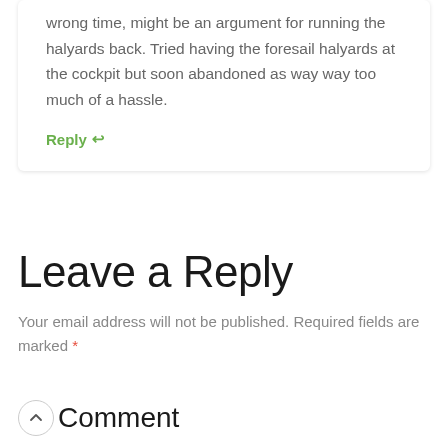wrong time, might be an argument for running the halyards back. Tried having the foresail halyards at the cockpit but soon abandoned as way way too much of a hassle.
Reply ↩
Leave a Reply
Your email address will not be published. Required fields are marked *
Comment